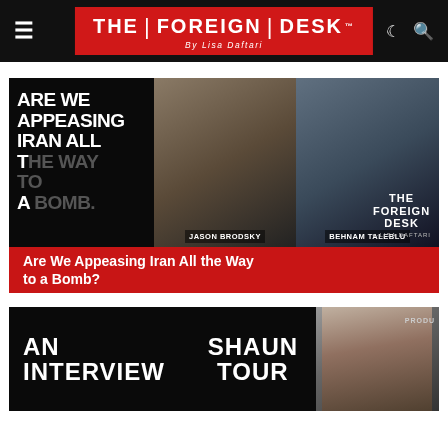THE FOREIGN DESK By Lisa Daftari
[Figure (screenshot): Podcast thumbnail for 'Are We Appeasing Iran All the Way to a Bomb?' featuring Jason Brodsky and Behnam Taleblu on The Foreign Desk with Lisa Daftari. Dark background with bold white text on the left and headshots of two men on the right.]
Are We Appeasing Iran All the Way to a Bomb?
[Figure (screenshot): Podcast/interview thumbnail showing 'AN INTERVIEW' text on the left and 'SHAUN TOUR' text in the center with a man's headshot on the right. Dark background with bold white text.]